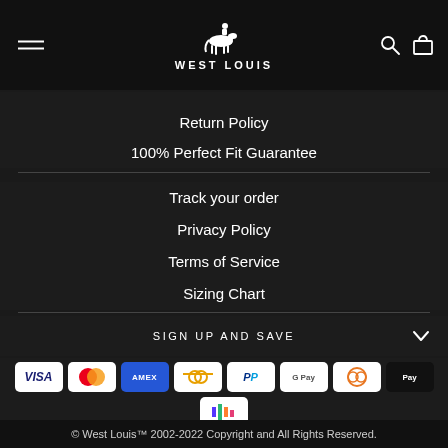WEST LOUIS
Return Policy
100% Perfect Fit Guarantee
Track your order
Privacy Policy
Terms of Service
Sizing Chart
SIGN UP AND SAVE
[Figure (logo): Payment method badges: Visa, Mastercard, Amex, Generic card, PayPal, Google Pay, Diners Club, Apple Pay, and one more]
© West Louis™ 2002-2022 Copyright and All Rights Reserved.